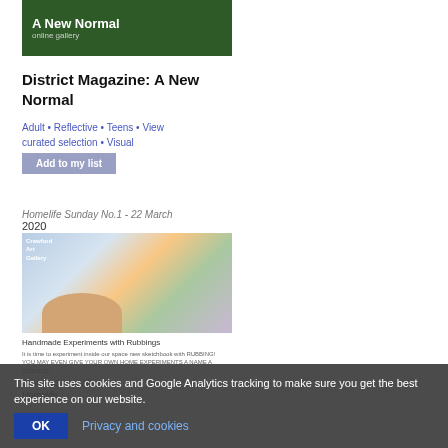[Figure (screenshot): Screenshot of an online gallery thumbnail with dark green background showing text 'A New Normal' in bold white and 'online gallery' underneath]
District Magazine: A New Normal
Adult • Reflective • Teens • View curated selection • Visual
Add to my list
Homelife Sunday No.1 - 22 March 2020
[Figure (photo): Screenshot of Crawford Art Gallery page showing a hand holding a colorful sketch/drawing with text 'Handmade Experiments with Rubbings']
Handmade Experiments with Rubbings
It is time to experiment inside our space new sketchbook with RUBBING!
YOU MAY EVEN GIVE YOUR OWN HOME EXPERIMENTS A NAME A SCIENCE!
Crawford Art Gallery
Homelife
This site uses cookies and Google Analytics tracking to make sure you get the best experience on our website.
OK
Privacy and cookies